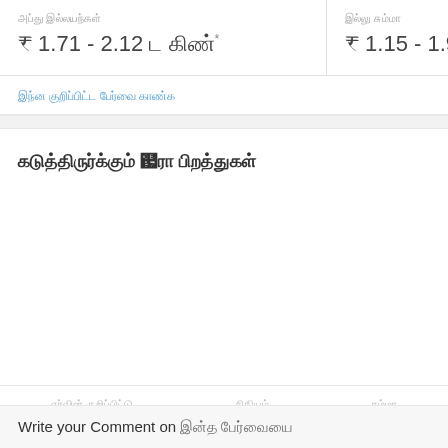₹ 1.71 - 2.12 [Tamil text]*
₹ 1.15 - 1.93 [Tamil text]
[Tamil link text]
[Tamil section title]
[Tamil footer tab 1]
[Tamil footer tab 2]
[Tamil footer tab 3]
Write your Comment on [Tamil text]